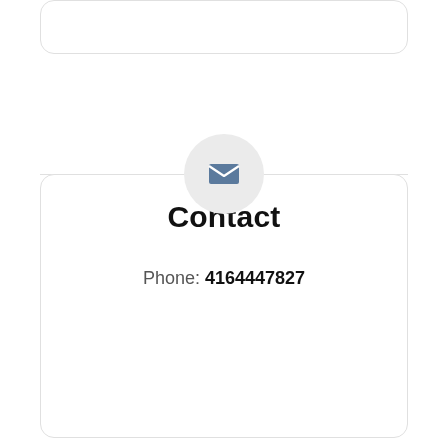[Figure (other): A rounded rectangle card outline at the top of the page, partially visible]
[Figure (illustration): A circular grey icon button containing a blue envelope/mail icon, centered between two horizontal divider lines]
Contact
Phone: 4164447827